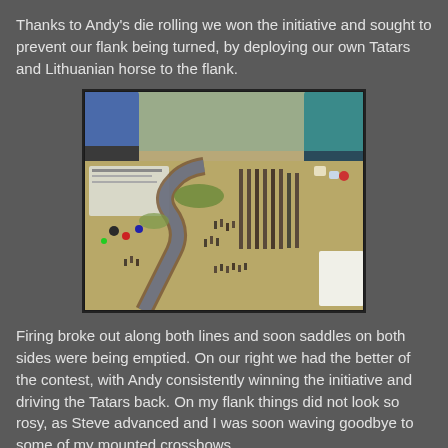Thanks to Andy's die rolling we won the initiative and sought to prevent our flank being turned, by deploying our own Tatars and Lithuanian horse to the flank.
[Figure (photo): A photograph of a tabletop wargame showing miniature soldiers arranged on a sandy-colored game board with a winding river/road, with players visible in the background.]
Firing broke out along both lines and soon saddles on both sides were being emptied. On our right we had the better of the contest, with Andy consistently winning the initiative and driving the Tatars back. On my flank things did not look so rosy, as Steve advanced and I was soon waving goodbye to some of my mounted crossbows.